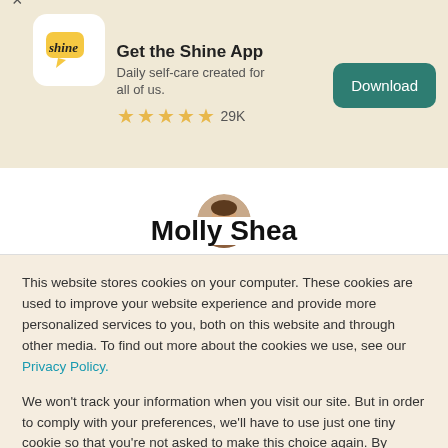[Figure (screenshot): Shine app logo icon — white rounded square with a speech bubble and 'shine' text in cursive]
Get the Shine App
Daily self-care created for all of us.
★★★★★ 29K
Download
[Figure (photo): Circular avatar photo of a person — Molly Shea's profile picture]
Molly Shea
This website stores cookies on your computer. These cookies are used to improve your website experience and provide more personalized services to you, both on this website and through other media. To find out more about the cookies we use, see our Privacy Policy.
We won't track your information when you visit our site. But in order to comply with your preferences, we'll have to use just one tiny cookie so that you're not asked to make this choice again. By clicking Accept you consent to our use of cookies.
Accept
Decline